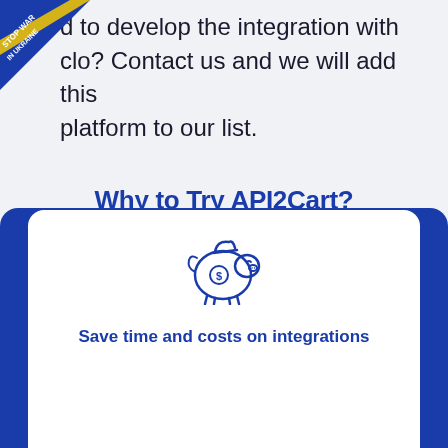[Figure (illustration): Stop War In Ukraine ribbon badge in top-left corner with blue and yellow colors]
d to develop the integration with clo? Contact us and we will add this platform to our list.
Why to Try API2Cart?
[Figure (illustration): Piggy bank icon with dollar sign, outlined in dark blue, styled line art]
Save time and costs on integrations